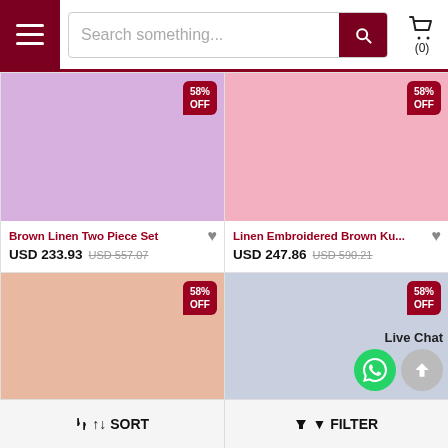[Figure (screenshot): E-commerce website header with hamburger menu, search bar, and cart icon showing (0) items]
[Figure (photo): Product card: Brown Linen Two Piece Set, lavender background placeholder, 58% OFF badge, price USD 233.93, original USD 557.07]
[Figure (photo): Product card: Linen Embroidered Brown Ku..., pink background placeholder, 58% OFF badge, price USD 247.86, original USD 590.21]
[Figure (photo): Partial product card with peach background placeholder and 58% OFF badge]
[Figure (photo): Partial product card with blue-gray background placeholder and 58% OFF badge, Live Chat overlay with WhatsApp and scroll-to-top buttons]
SORT
FILTER